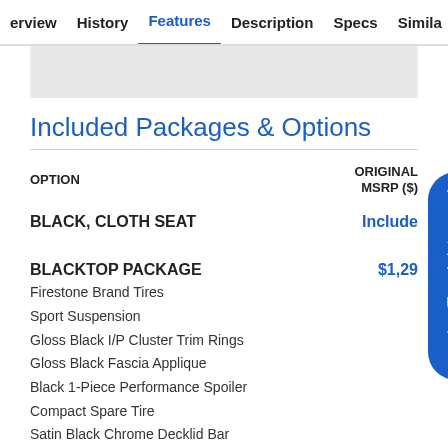erview  History  Features  Description  Specs  Simila
Included Packages & Options
| OPTION | ORIGINAL MSRP ($) |
| --- | --- |
| BLACK, CLOTH SEAT | Included |
| BLACKTOP PACKAGE | $1,29... |
| Firestone Brand Tires |  |
| Sport Suspension |  |
| Gloss Black I/P Cluster Trim Rings |  |
| Gloss Black Fascia Applique |  |
| Black 1-Piece Performance Spoiler |  |
| Compact Spare Tire |  |
| Satin Black Chrome Decklid Bar |  |